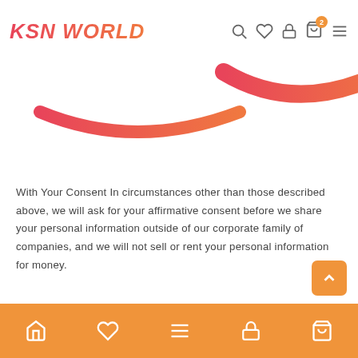KSN WORLD
[Figure (logo): KSN WORLD logo with gradient pink-to-orange text and a curved smile arc below]
With Your Consent In circumstances other than those described above, we will ask for your affirmative consent before we share your personal information outside of our corporate family of companies, and we will not sell or rent your personal information for money.
About Us
Bottom navigation bar with home, wishlist, menu, account, and cart icons